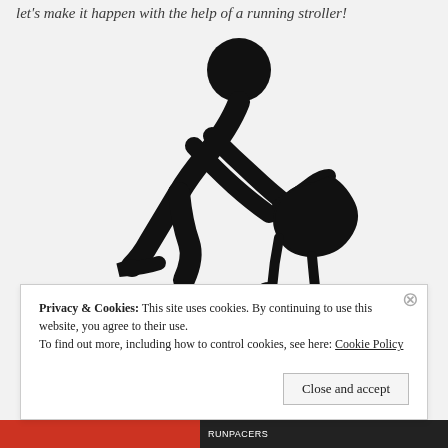let's make it happen with the help of a running stroller!
[Figure (illustration): Stick figure icon of a person running while pushing a jogging stroller, shown in black silhouette on a light gray background.]
Privacy & Cookies: This site uses cookies. By continuing to use this website, you agree to their use.
To find out more, including how to control cookies, see here: Cookie Policy
Close and accept